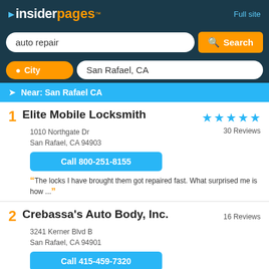insiderpages™ — Full site
auto repair — Search
City — San Rafael, CA
Near: San Rafael CA
1 Elite Mobile Locksmith
1010 Northgate Dr
San Rafael, CA 94903
30 Reviews
Call 800-251-8155
“The locks I have brought them got repaired fast. What surprised me is how ... ”
2 Crebassa's Auto Body, Inc.
3241 Kerner Blvd B
San Rafael, CA 94901
16 Reviews
Call 415-459-7320
“Over the top customer service! Marco took care of everything. He produced an estimate ... ”
3 Proshop Inc.